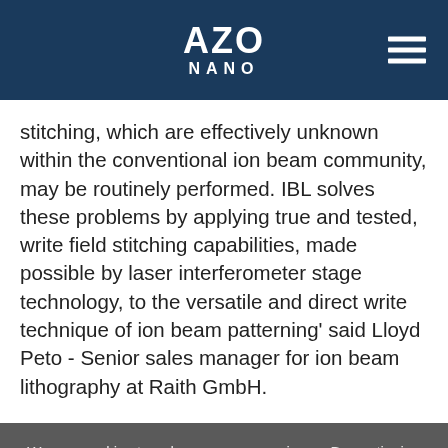AZO NANO
stitching, which are effectively unknown within the conventional ion beam community, may be routinely performed. IBL solves these problems by applying true and tested, write field stitching capabilities, made possible by laser interferometer stage technology, to the versatile and direct write technique of ion beam patterning' said Lloyd Peto - Senior sales manager for ion beam lithography at Raith GmbH.
We use cookies to enhance your experience. By continuing to browse this site you agree to our use of cookies. More info.
Accept | Cookie Settings